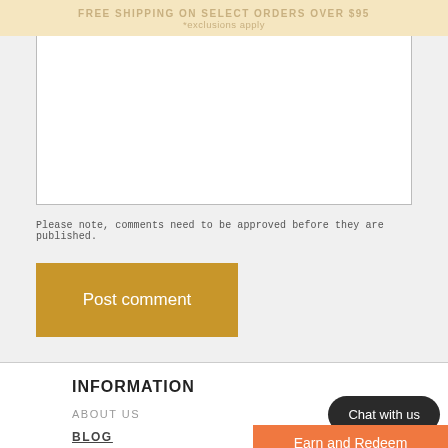FREE SHIPPING ON SELECT ORDERS OVER $95 *exclusions apply
Comment *
Please note, comments need to be approved before they are published.
Post comment
INFORMATION
ABOUT US
BLOG
Chat with us
Earn and Redeem Rewards